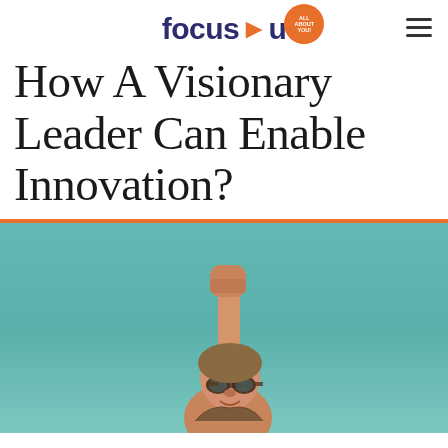focus u — ALL ABOUT YOU!
How A Visionary Leader Can Enable Innovation?
[Figure (photo): A child dressed as an aviator with goggles, raising a fist triumphantly against a teal/turquoise sky background]